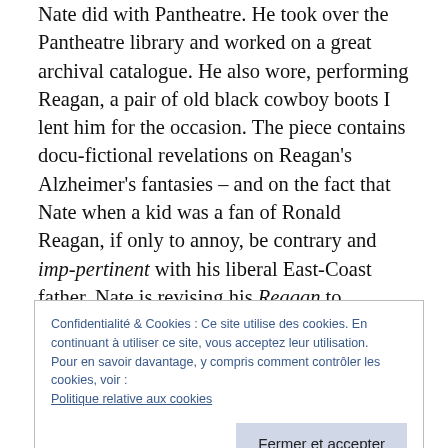Nate did with Pantheatre. He took over the Pantheatre library and worked on a great archival catalogue. He also wore, performing Reagan, a pair of old black cowboy boots I lent him for the occasion. The piece contains docu-fictional revelations on Reagan's Alzheimer's fantasies – and on the fact that Nate when a kid was a fan of Ronald Reagan, if only to annoy, be contrary and imp-pertinent with his liberal East-Coast father. Nate is revising his Reagan to integrate the new presidential delirium: a 'trumped up' version of a tragic-comically 'trumped-down' piece: Reagan's Alzheimer's was actually, and in spite of
Confidentialité & Cookies : Ce site utilise des cookies. En continuant à utiliser ce site, vous acceptez leur utilisation.
Pour en savoir davantage, y compris comment contrôler les cookies, voir :
Politique relative aux cookies
Fermer et accepter